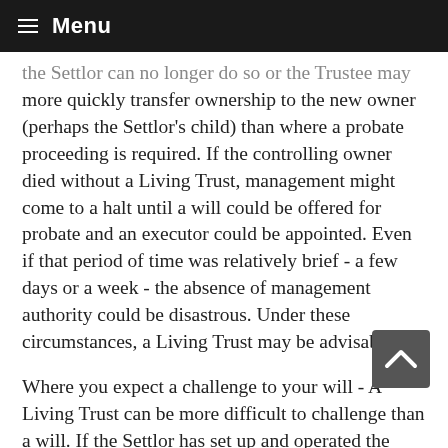≡ Menu
the Settlor can no longer do so or the Trustee may more quickly transfer ownership to the new owner (perhaps the Settlor's child) than where a probate proceeding is required. If the controlling owner died without a Living Trust, management might come to a halt until a will could be offered for probate and an executor could be appointed. Even if that period of time was relatively brief - a few days or a week - the absence of management authority could be disastrous. Under these circumstances, a Living Trust may be advisable.
Where you expect a challenge to your will - A Living Trust can be more difficult to challenge than a will. If the Settlor has set up and operated the Living Trust during his or her lifetime, this creates evidence that the Settlor knew what he or she wanted to do and that the Living Trust sets forth that intention. Had it not